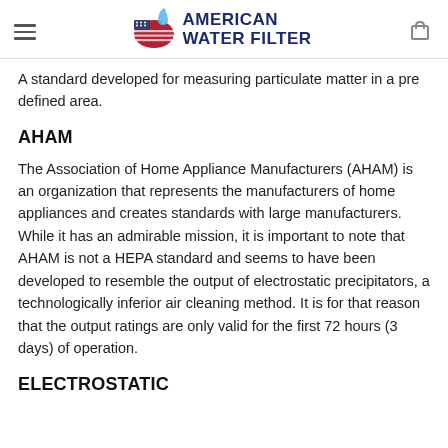American Water Filter
A standard developed for measuring particulate matter in a pre defined area.
AHAM
The Association of Home Appliance Manufacturers (AHAM) is an organization that represents the manufacturers of home appliances and creates standards with large manufacturers. While it has an admirable mission, it is important to note that AHAM is not a HEPA standard and seems to have been developed to resemble the output of electrostatic precipitators, a technologically inferior air cleaning method. It is for that reason that the output ratings are only valid for the first 72 hours (3 days) of operation.
ELECTROSTATIC